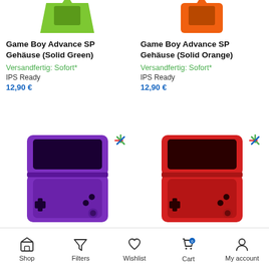[Figure (photo): Game Boy Advance SP housing in solid green color, partial top view]
[Figure (photo): Game Boy Advance SP housing in solid orange color, partial top view]
Game Boy Advance SP Gehäuse (Solid Green)
Game Boy Advance SP Gehäuse (Solid Orange)
Versandfertig: Sofort*
IPS Ready
12,90 €
Versandfertig: Sofort*
IPS Ready
12,90 €
[Figure (photo): Game Boy Advance SP housing in solid purple color, open view]
[Figure (photo): Game Boy Advance SP housing in solid red color, open view]
Shop  Filters  Wishlist  Cart  My account